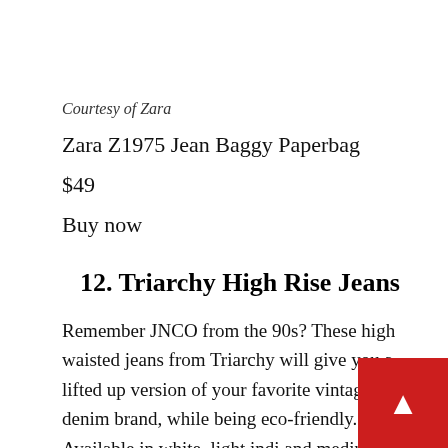Courtesy of Zara
Zara Z1975 Jean Baggy Paperbag
$49
Buy now
12. Triarchy High Rise Jeans
Remember JNCO from the 90s? These high waisted jeans from Triarchy will give you a lifted up version of your favorite vintage raver denim brand, while being eco-friendly. Available in white, light indi and medium, this pair of non-stretch heavywe denim is made from 100% organic cotton, which is